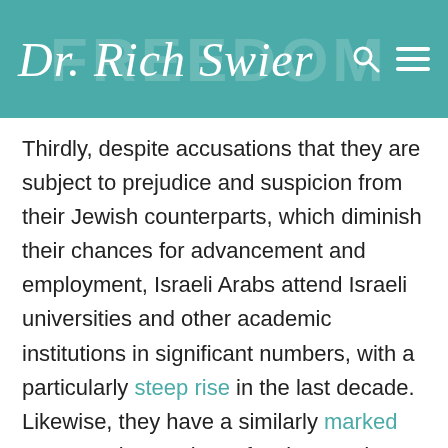Dr. Rich Swier
Thirdly, despite accusations that they are subject to prejudice and suspicion from their Jewish counterparts, which diminish their chances for advancement and employment, Israeli Arabs attend Israeli universities and other academic institutions in significant numbers, with a particularly steep rise in the last decade. Likewise, they have a similarly marked presence in certain professions and industries such as medicine, pharmaceutics, and construction. Israeli Arabs hold high-ranking positions in the judiciary—including